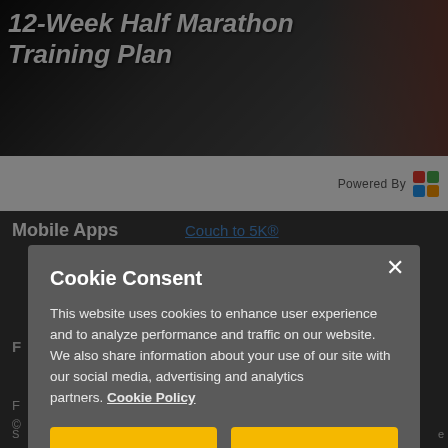[Figure (photo): Banner image showing runners at a race event with bold italic white text overlay reading '12-Week Half Marathon Training Plan']
12-Week Half Marathon Training Plan
Powered By
Mobile Apps   Couch to 5K®
Cookie Consent
This website uses cookies to enhance user experience and to analyze performance and traffic on our website. We also share information about your use of our site with our social media, advertising and analytics partners. Cookie Policy
Reject All
Accept Cookies
Do Not Sell My Personal Information